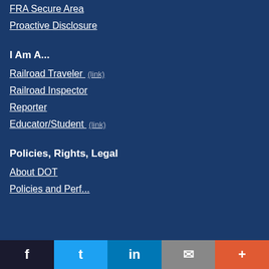FRA Secure Area
Proactive Disclosure
I Am A...
Railroad Traveler (link)
Railroad Inspector
Reporter
Educator/Student (link)
Policies, Rights, Legal
About DOT
(partially visible link)
Facebook  Twitter  LinkedIn  Email  More